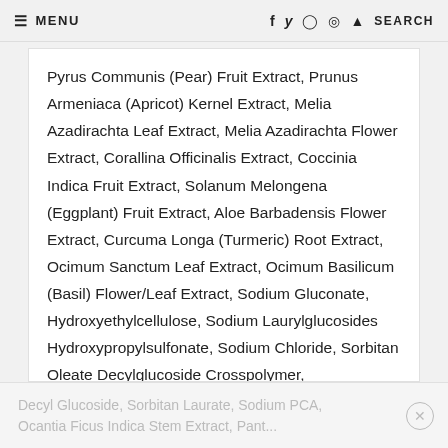≡ MENU   f  y  ⊙  ●  🔍 SEARCH
Pyrus Communis (Pear) Fruit Extract, Prunus Armeniaca (Apricot) Kernel Extract, Melia Azadirachta Leaf Extract, Melia Azadirachta Flower Extract, Corallina Officinalis Extract, Coccinia Indica Fruit Extract, Solanum Melongena (Eggplant) Fruit Extract, Aloe Barbadensis Flower Extract, Curcuma Longa (Turmeric) Root Extract, Ocimum Sanctum Leaf Extract, Ocimum Basilicum (Basil) Flower/Leaf Extract, Sodium Gluconate, Hydroxyethylcellulose, Sodium Laurylglucosides Hydroxypropylsulfonate, Sodium Chloride, Sorbitan Oleate Decylglucoside Crosspolymer,
Decyl Glucoside, Sorbitan Laurate, Sodium PCA, Ocantia Ficus Indica Stem Extract, Pant...